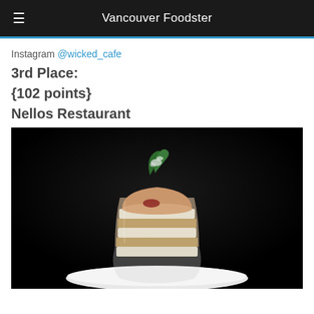Vancouver Foodster
Instagram @wicked_cafe
3rd Place:
{102 points}
Nellos Restaurant
[Figure (photo): A dessert in a glass cup — layered tiramisu with cream and cookie layers, topped with a mousse and a green herb garnish, served on a white plate against a dark background.]